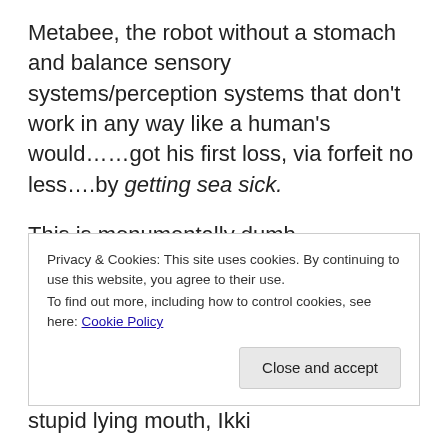Metabee, the robot without a stomach and balance sensory systems/perception systems that don't work in any way like a human's would……got his first loss, via forfeit no less….by getting sea sick.
This is monumentally dumb.
At sunset, Ikki and Metabee lament their loss – Metabee wearing a goofy pair of spare legs that I think he got from
Privacy & Cookies: This site uses cookies. By continuing to use this website, you agree to their use.
To find out more, including how to control cookies, see here: Cookie Policy
Close and accept
stupid lying mouth, Ikki